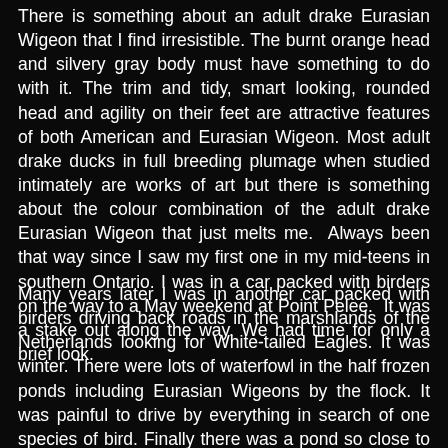There is something about an adult drake Eurasian Wigeon that I find irresistible. The burnt orange head and silvery gray body must have something to do with it. The trim and tidy, smart looking, rounded head and agility on their feet are attractive features of both American and Eurasian Wigeon. Most adult drake ducks in full breeding plumage when studied intimately are works of art but there is something about the colour combination of the adult drake Eurasian Wigeon that just melts me.  Always been that way since I saw my first one in my mid-teens in southern Ontario. I was in a car packed with birders on the way to a May weekend at Point Pelee.  It was a stake out along the way. We had time for only a brief look.
Many years later I was in another car packed with birders driving back roads in the marshlands of the Netherlands looking for White-tailed Eagles. It was winter. There were lots of waterfowl in the half frozen ponds including Eurasian Wigeons by the flock. It was painful to drive by everything in search of one species of bird. Finally there was a pond so close to the road, so full of wigeons that I blurted out - "can we stop here for a quick look". Slightly perturbed for the